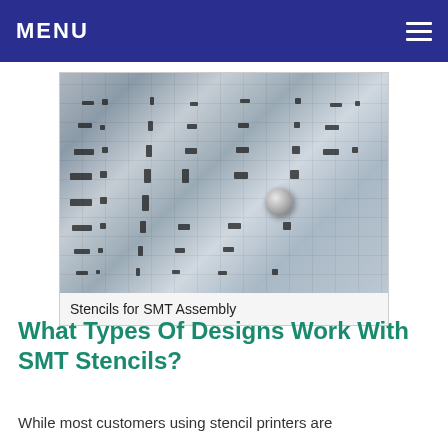MENU
[Figure (photo): Close-up photograph of an SMT (Surface Mount Technology) stencil sheet showing multiple aperture patterns, small rectangular and square cutouts arranged in component footprint patterns, and a solder ball/drop visible in the center-right area of the stencil.]
Stencils for SMT Assembly
What Types Of Designs Work With SMT Stencils?
While most customers using stencil printers are